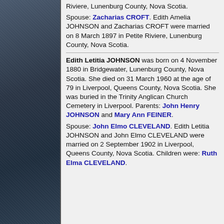Riviere, Lunenburg County, Nova Scotia.
Spouse: Zacharias CROFT. Edith Amelia JOHNSON and Zacharias CROFT were married on 8 March 1897 in Petite Riviere, Lunenburg County, Nova Scotia.
Edith Letitia JOHNSON was born on 4 November 1880 in Bridgewater, Lunenburg County, Nova Scotia. She died on 31 March 1960 at the age of 79 in Liverpool, Queens County, Nova Scotia. She was buried in the Trinity Anglican Church Cemetery in Liverpool. Parents: John Henry JOHNSON and Mary Ann FEINER.
Spouse: John Elmo CLEVELAND. Edith Letitia JOHNSON and John Elmo CLEVELAND were married on 2 September 1902 in Liverpool, Queens County, Nova Scotia. Children were: Ruth Elma CLEVELAND.